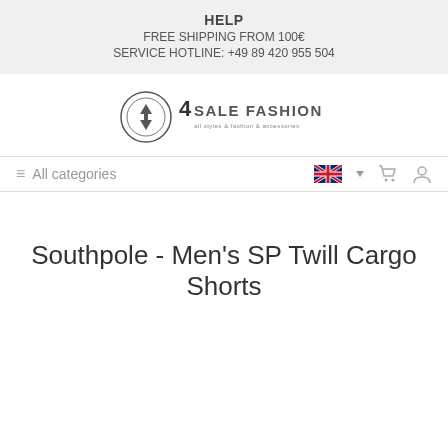HELP
FREE SHIPPING FROM 100€
SERVICE HOTLINE: +49 89 420 955 504
[Figure (logo): 4Sale Fashion logo with circular emblem and brand name]
≡ All categories
Southpole - Men's SP Twill Cargo Shorts